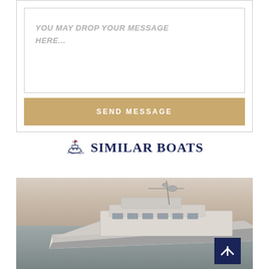YOU MAY DROP YOUR MESSAGE HERE...
SEND MESSAGE
SIMILAR BOATS
[Figure (photo): Aerial/side view of a luxury motor yacht sailing on calm sea at dusk with a scroll-to-top button overlay]